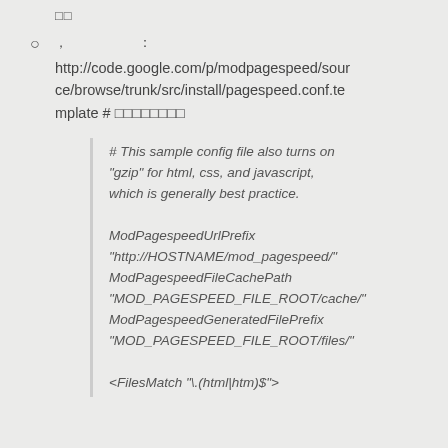□□
，　　　　　：http://code.google.com/p/modpagespeed/source/browse/trunk/src/install/pagespeed.conf.template # □□□□□□□
# This sample config file also turns on "gzip" for html, css, and javascript, which is generally best practice.

ModPagespeedUrlPrefix "http://HOSTNAME/mod_pagespeed/"
ModPagespeedFileCachePath "MOD_PAGESPEED_FILE_ROOT/cache/"
ModPagespeedGeneratedFilePrefix "MOD_PAGESPEED_FILE_ROOT/files/"

<FilesMatch "\.(html|htm)$">